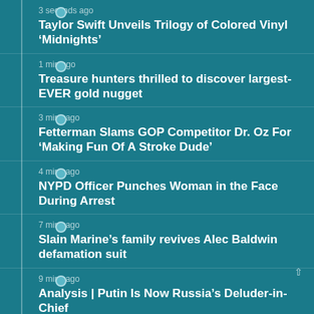3 seconds ago
Taylor Swift Unveils Trilogy of Colored Vinyl ‘Midnights’
1 min ago
Treasure hunters thrilled to discover largest-EVER gold nugget
3 mins ago
Fetterman Slams GOP Competitor Dr. Oz For ‘Making Fun Of A Stroke Dude’
4 mins ago
NYPD Officer Punches Woman in the Face During Arrest
7 mins ago
Slain Marine’s family revives Alec Baldwin defamation suit
9 mins ago
Analysis | Putin Is Now Russia’s Deluder-in-Chief
15 mins ago
Parts of B.C. financial statements ‘not accurate,’ auditor general says
16 mins ago